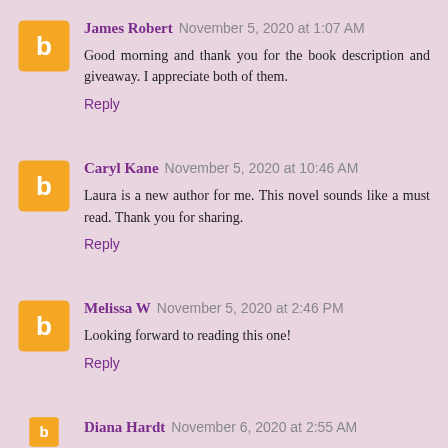James Robert November 5, 2020 at 1:07 AM
Good morning and thank you for the book description and giveaway.  I appreciate both of them.
Reply
Caryl Kane November 5, 2020 at 10:46 AM
Laura is a new author for me. This novel sounds like a must read. Thank you for sharing.
Reply
Melissa W November 5, 2020 at 2:46 PM
Looking forward to reading this one!
Reply
Diana Hardt November 6, 2020 at 2:55 AM